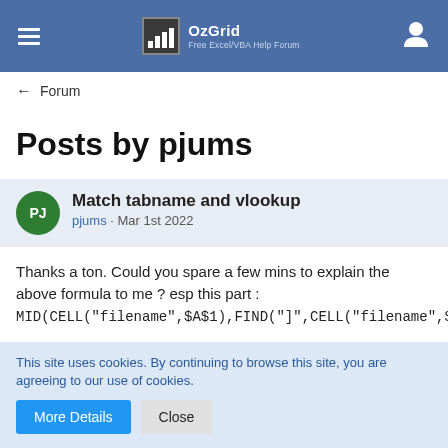OzGrid Free Excel/VBA Help Forum
← Forum
Posts by pjums
Match tabname and vlookup
pjums · Mar 1st 2022
Thanks a ton. Could you spare a few mins to explain the above formula to me ? esp this part :
MID(CELL("filename",$A$1),FIND("]",CELL("filename",$A$1))+1,32)
This site uses cookies. By continuing to browse this site, you are agreeing to our use of cookies.